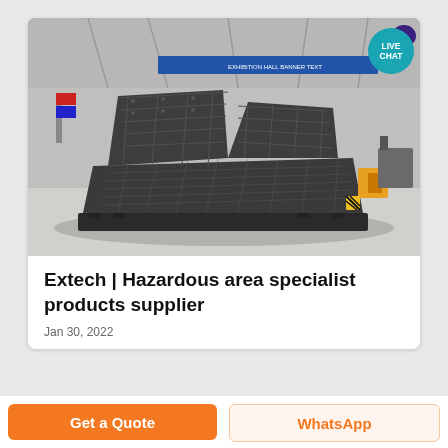[Figure (photo): Industrial photograph of a large dark grey heavy equipment machine (appears to be a shredder or crusher) displayed on a factory/exhibition floor with banners in the background.]
Extech | Hazardous area specialist products supplier
Jan 30, 2022
Get a Quote
WhatsApp